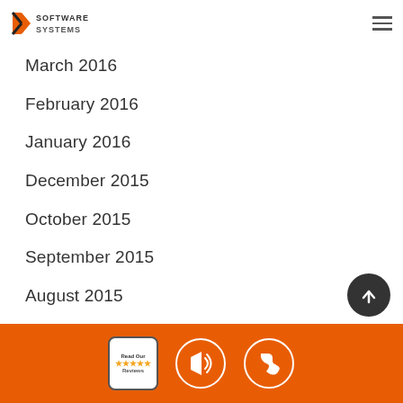Key Software Systems
March 2016
February 2016
January 2016
December 2015
October 2015
September 2015
August 2015
July 2015
June 2015
May 2015
April 2015
Read Our Reviews | Announcements | Phone